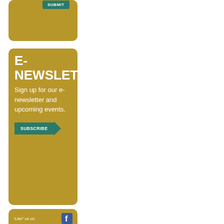[Figure (screenshot): Gold/tan rounded card with SUBMIT button in teal/green at top]
[Figure (screenshot): Gold/tan rounded card with E-NEWSLETTER heading, sign up text, and SUBSCRIBE button with arrow in teal/green]
[Figure (screenshot): Gold/tan rounded card with 'Like' us on Facebook text, Facebook logo icon, and CLM updates blurb]